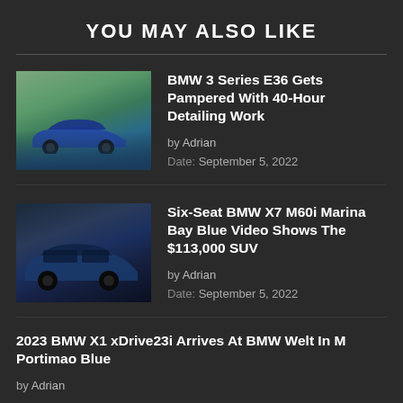YOU MAY ALSO LIKE
BMW 3 Series E36 Gets Pampered With 40-Hour Detailing Work
by Adrian
Date: September 5, 2022
Six-Seat BMW X7 M60i Marina Bay Blue Video Shows The $113,000 SUV
by Adrian
Date: September 5, 2022
2023 BMW X1 xDrive23i Arrives At BMW Welt In M Portimao Blue
by Adrian